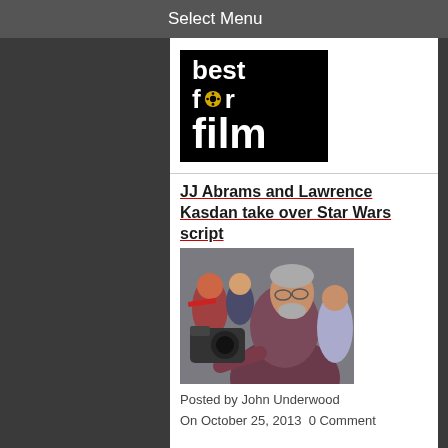Select Menu
[Figure (logo): Best For Film logo — black background with white bold text reading 'best for film' with a yellow film reel icon replacing the 'o' in 'for']
JJ Abrams and Lawrence Kasdan take over Star Wars script
[Figure (photo): A man with glasses and grey beard wearing a dark jacket pointing with his right hand, surrounded by camera equipment and people in winter clothing outdoors]
Posted by John Underwood
On October 25, 2013  0 Comment